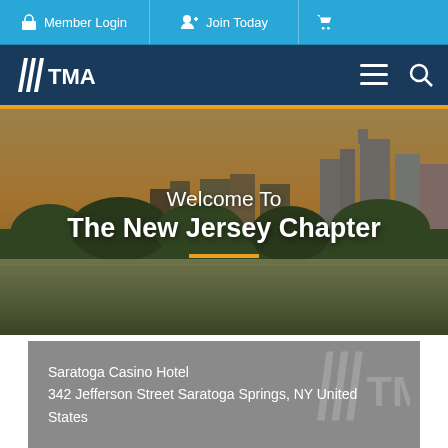Member Login | Join Today | [Cart]
[Figure (logo): TMA logo with navigation bar, hamburger menu and search icon on dark blue background]
[Figure (photo): City skyline with river reflection at golden hour, overlaid with text 'Welcome To The New Jersey Chapter' and an orange underline accent]
Welcome To
The New Jersey Chapter
Saratoga Casino Hotel
342 Jefferson Street Saratoga Springs, NY United States